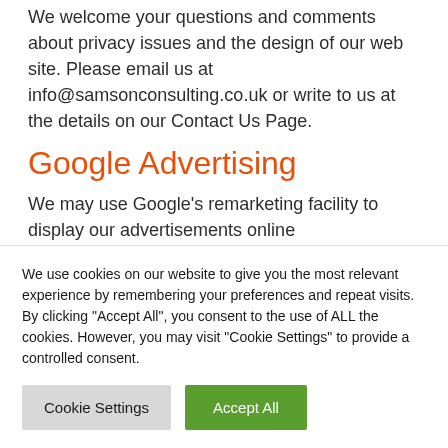We welcome your questions and comments about privacy issues and the design of our web site. Please email us at info@samsonconsulting.co.uk or write to us at the details on our Contact Us Page.
Google Advertising
We may use Google's remarketing facility to display our advertisements online
We use cookies on our website to give you the most relevant experience by remembering your preferences and repeat visits. By clicking "Accept All", you consent to the use of ALL the cookies. However, you may visit "Cookie Settings" to provide a controlled consent.